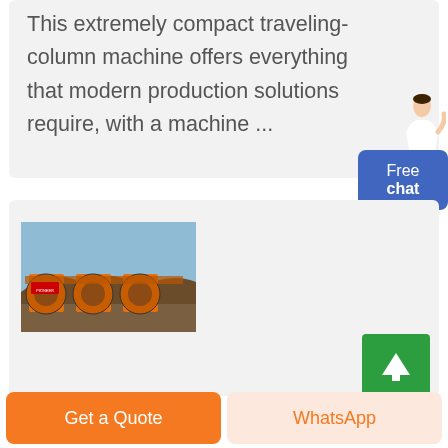This extremely compact traveling-column machine offers everything that modern production solutions require, with a machine ...
[Figure (photo): Blue chat widget with a customer service person figure and a blue rounded rectangle button labeled 'Free chat']
[Figure (photo): Photo of large orange industrial sand washing machines with circular drum wheels at an outdoor quarry site]
[Figure (other): Green scroll-to-top button with a white upward arrow]
Get a Quote
WhatsApp